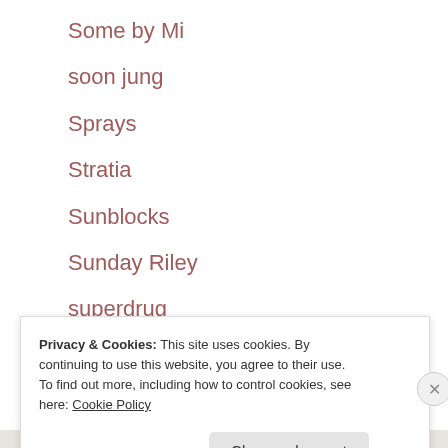Some by Mi
soon jung
Sprays
Stratia
Sunblocks
Sunday Riley
superdrug
SVR
The Inkey List
Privacy & Cookies: This site uses cookies. By continuing to use this website, you agree to their use.
To find out more, including how to control cookies, see here: Cookie Policy
Close and accept